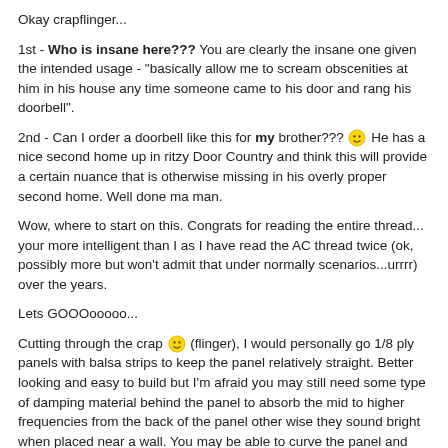Okay crapflinger...
1st - Who is insane here??? You are clearly the insane one given the intended usage - "basically allow me to scream obscenities at him in his house any time someone came to his door and rang his doorbell".
2nd - Can I order a doorbell like this for my brother??? 🙂 He has a nice second home up in ritzy Door Country and think this will provide a certain nuance that is otherwise missing in his overly proper second home. Well done ma man.
Wow, where to start on this. Congrats for reading the entire thread... your more intelligent than I as I have read the AC thread twice (ok, possibly more but won't admit that under normally scenarios...urrrr) over the years.
Lets GOOOooooo...
Cutting through the crap 🙂 (flinger), I would personally go 1/8 ply panels with balsa strips to keep the panel relatively straight. Better looking and easy to build but I'm afraid you may still need some type of damping material behind the panel to absorb the mid to higher frequencies from the back of the panel other wise they sound bright when placed near a wall. You may be able to curve the panel and use the space made behind the panel for the damping material.
If making a thin enclosure sounds just as easy, I'd go with 1/2 or 3/4 XPS with grill cloth to make presentable and damping material again at the back of the enclosure. Could be just thick enough for the panel and exciter.
The easiest might be a "Fredclosure" where you simply frame the ply